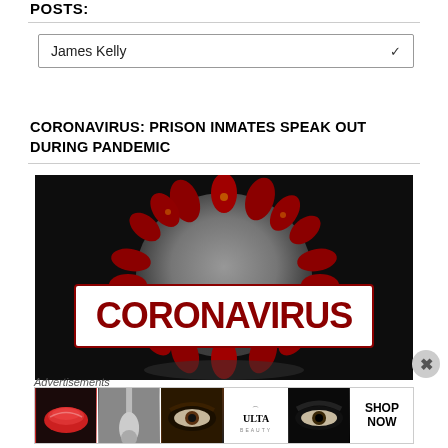POSTS:
James Kelly
CORONAVIRUS: PRISON INMATES SPEAK OUT DURING PANDEMIC
[Figure (photo): Close-up 3D render of a coronavirus particle (SARS-CoV-2) against a dark background, with a large white banner overlaid in the center bearing the text 'CORONAVIRUS' in large bold dark red letters.]
Advertisements
[Figure (photo): Advertisement banner showing beauty/makeup themed images (lips, makeup brush, eye, Ulta Beauty logo, eye) with a 'SHOP NOW' call-to-action on the right.]